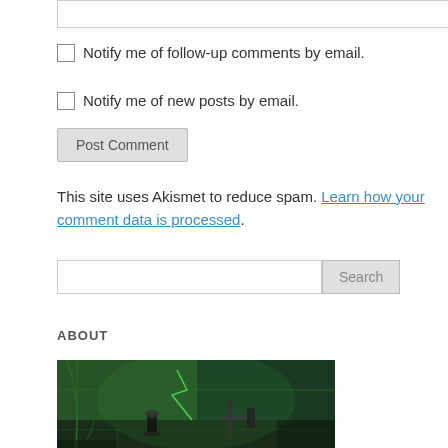Notify me of follow-up comments by email.
Notify me of new posts by email.
Post Comment
This site uses Akismet to reduce spam. Learn how your comment data is processed.
Search
ABOUT
[Figure (illustration): Comic book style illustration with green and dark tones showing mechanical/industrial scene with chess pieces]